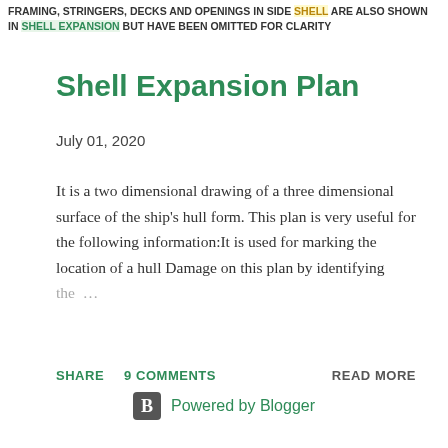FRAMING, STRINGERS, DECKS AND OPENINGS IN SIDE SHELL ARE ALSO SHOWN IN SHELL EXPANSION BUT HAVE BEEN OMITTED FOR CLARITY
Shell Expansion Plan
July 01, 2020
It is a two dimensional drawing of a three dimensional surface of the ship's hull form. This plan is very useful for the following information:It is used for marking the location of a hull Damage on this plan by identifying the ...
SHARE   9 COMMENTS   READ MORE
Powered by Blogger